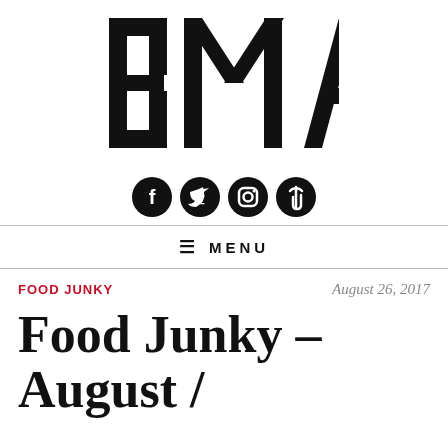[Figure (logo): BMA logo in large bold block letters]
[Figure (infographic): Four social media icon circles: Facebook, Twitter, Instagram, paperclip/link]
≡ MENU
FOOD JUNKY
August 26, 2017
Food Junky – August /